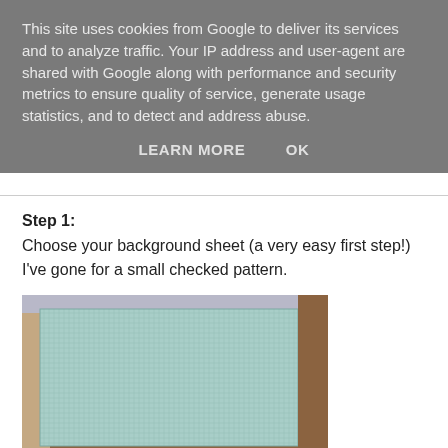This site uses cookies from Google to deliver its services and to analyze traffic. Your IP address and user-agent are shared with Google along with performance and security metrics to ensure quality of service, generate usage statistics, and to detect and address abuse.
LEARN MORE    OK
Step 1:
Choose your background sheet (a very easy first step!) I've gone for a small checked pattern.
[Figure (photo): Photo of a light blue/teal checked pattern sheet of paper laid on a wooden surface, with some craft materials visible around the edges.]